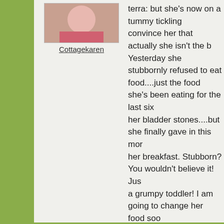[Figure (photo): Avatar image of Cottagekaren, appears to be a person in pink]
Cottagekaren
terra: but she's now on a tummy tickling... convince her that actually she isn't the b... Yesterday she stubbornly refused to eat food....just the food she's been eating for the last six her bladder stones....but she finally gave in this mor... her breakfast. Stubborn? You wouldn't believe it! Jus... a grumpy toddler! I am going to change her food soo... nearly £3 a can, I think we will be finishing up this tra... going to be a battle of wills again!
[Figure (photo): Avatar image of Terratoonie, appears to be a dog outdoors]
Terratoonie
Hi Karen ..
I guess Cottage Molly is feeling unsettled house move planned soon .... I reckon h... will return when you are back in a norma... :o) x